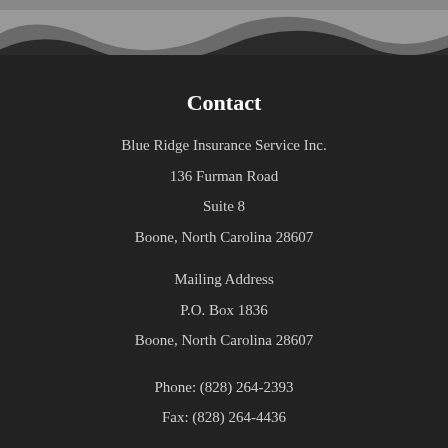[Figure (illustration): Wave/ribbon decorative graphic in gray tones at the top of the page on a dark background]
Contact
Blue Ridge Insurance Service Inc.
136 Furman Road
Suite 8
Boone, North Carolina 28607
Mailing Address
P.O. Box 1836
Boone, North Carolina 28607
Phone: (828) 264-2393
Fax: (828) 264-4436
Mon-Fri: 9:00am-5:00pm
Sat-Sun: Closed